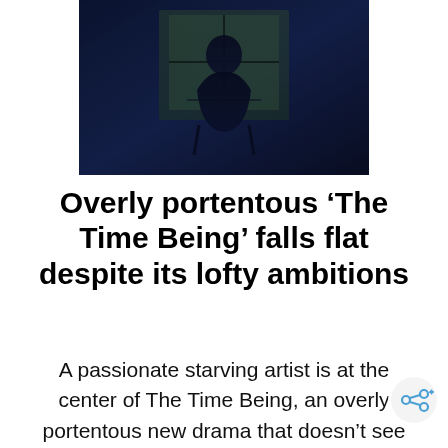[Figure (photo): Dark blue-tinted photograph of a person sitting near a window, partially silhouetted against outdoor greenery]
Overly portentous ‘The Time Being’ falls flat despite its lofty ambitions
A passionate starving artist is at the center of The Time Being, an overly portentous new drama that doesn’t see such a central figure as being too stereotypical. No, this is a movie about how Art is Serious, so serious, in fact that focusing entirely on one’s work trumps